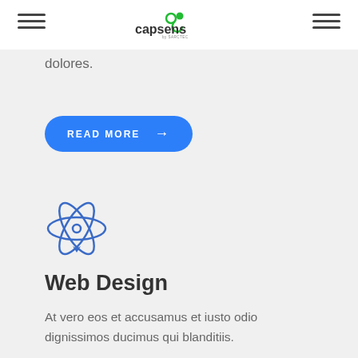capsens by SARCTEC
dolores.
READ MORE →
[Figure (illustration): Atom/React-style icon in blue outline style]
Web Design
At vero eos et accusamus et iusto odio dignissimos ducimus qui blanditiis.